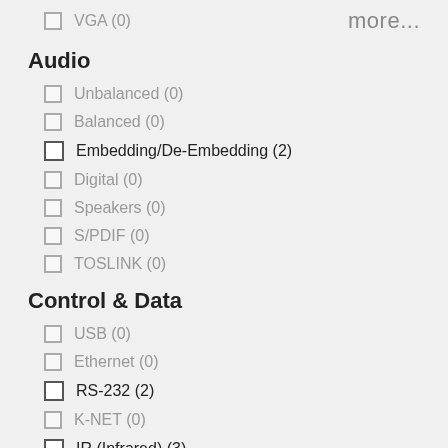VGA (0)
more...
Audio
Unbalanced (0)
Balanced (0)
Embedding/De-Embedding (2)
Digital (0)
Speakers (0)
S/PDIF (0)
TOSLINK (0)
Control & Data
USB (0)
Ethernet (0)
RS-232 (2)
K-NET (0)
IR (Infrared) (3)
GPI/O (0)
Relay (0)